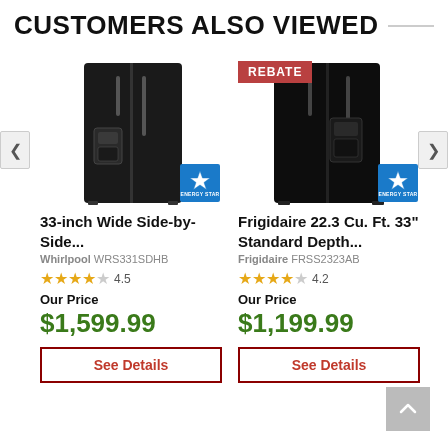CUSTOMERS ALSO VIEWED
[Figure (photo): Black Whirlpool 33-inch side-by-side refrigerator with Energy Star badge]
33-inch Wide Side-by-Side...
Whirlpool WRS331SDHB
4.5 stars
Our Price
$1,599.99
See Details
[Figure (photo): Black Frigidaire 22.3 Cu. Ft. side-by-side refrigerator with REBATE badge and Energy Star badge]
Frigidaire 22.3 Cu. Ft. 33" Standard Depth...
Frigidaire FRSS2323AB
4.2 stars
Our Price
$1,199.99
See Details